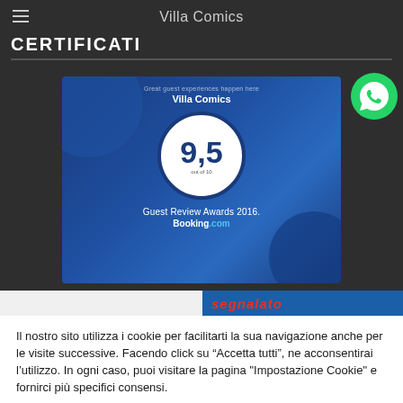Villa Comics
CERTIFICATI
[Figure (screenshot): Booking.com Guest Review Awards 2016 certificate for Villa Comics showing a score of 9,5 out of 10, with blue geometric background design.]
Il nostro sito utilizza i cookie per facilitarti la sua navigazione anche per le visite successive. Facendo click su “Accetta tutti”, ne acconsentirai l’utilizzo. In ogni caso, puoi visitare la pagina "Impostazione Cookie" e fornirci più specifici consensi.
Impostazione Cookie
Accetta tutti